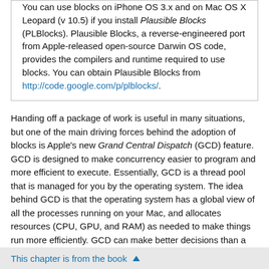You can use blocks on iPhone OS 3.x and on Mac OS X Leopard (v 10.5) if you install Plausible Blocks (PLBlocks). Plausible Blocks, a reverse-engineered port from Apple-released open-source Darwin OS code, provides the compilers and runtime required to use blocks. You can obtain Plausible Blocks from http://code.google.com/p/plblocks/.
Handing off a package of work is useful in many situations, but one of the main driving forces behind the adoption of blocks is Apple's new Grand Central Dispatch (GCD) feature. GCD is designed to make concurrency easier to program and more efficient to execute. Essentially, GCD is a thread pool that is managed for you by the operating system. The idea behind GCD is that the operating system has a global view of all the processes running on your Mac, and allocates resources (CPU, GPU, and RAM) as needed to make things run more efficiently. GCD can make better decisions than a user space program can about the number of threads to use and when to schedule them for execution. You use blocks to submit
This chapter is from the book